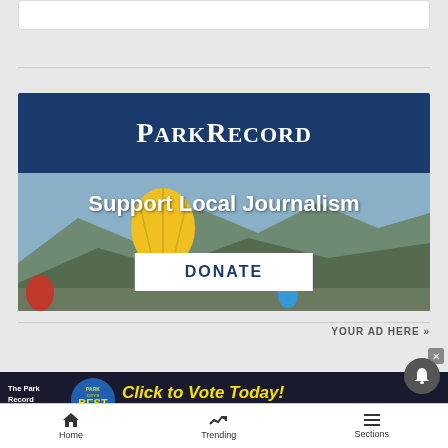[Figure (screenshot): Top white card/panel area at top of page]
[Figure (infographic): Park Record Support Local Journalism banner with blue header, hot air balloon over mountain landscape background, DONATE button]
YOUR AD HERE »
[Figure (infographic): The Park Record Presents - Park City's Best - Click to Vote Today! Sponsored by The Park City Chamber of Commerce - dark background banner ad]
Home  Trending  Sections